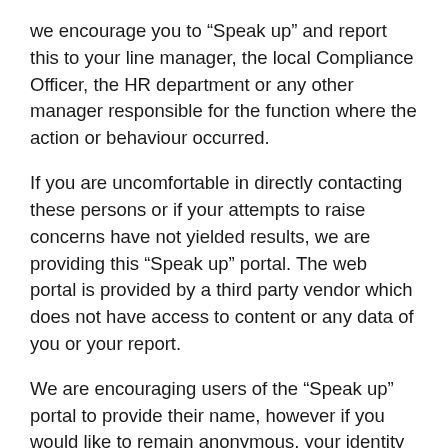we encourage you to “Speak up” and report this to your line manager, the local Compliance Officer, the HR department or any other manager responsible for the function where the action or behaviour occurred.
If you are uncomfortable in directly contacting these persons or if your attempts to raise concerns have not yielded results, we are providing this “Speak up” portal. The web portal is provided by a third party vendor which does not have access to content or any data of you or your report.
We are encouraging users of the “Speak up” portal to provide their name, however if you would like to remain anonymous, your identity will would not be captured in the system.
It is prohibited to knowingly submit false or slanderous information, or submitting reports which include spurious accusations or denunciations. These kinds of reports will not be tolerated and might by subject to